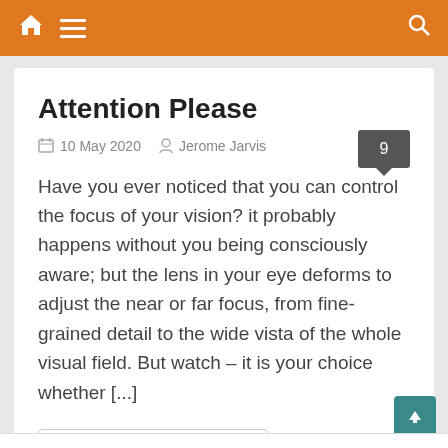Navigation header with home, menu, and search icons
Attention Please
10 May 2020   Jerome Jarvis
Have you ever noticed that you can control the focus of your vision? it probably happens without you being consciously aware; but the lens in your eye deforms to adjust the near or far focus, from fine-grained detail to the wide vista of the whole visual field. But watch – it is your choice whether [...]
Continue Reading